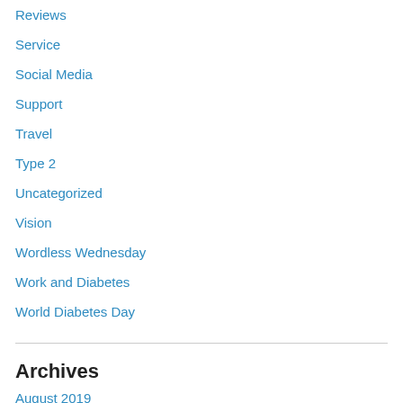Reviews
Service
Social Media
Support
Travel
Type 2
Uncategorized
Vision
Wordless Wednesday
Work and Diabetes
World Diabetes Day
Archives
August 2019
July 2019
June 2019
May 2019
April 2019